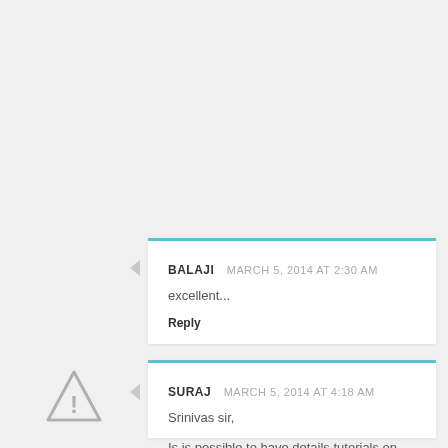BALAJI  MARCH 5, 2014 AT 2:30 AM
excellent...
Reply
SURAJ  MARCH 5, 2014 AT 4:18 AM
Srinivas sir,
Is is possible to have details tutorials on wordpress template from the scratch...? step by step...
If possible !
Reply